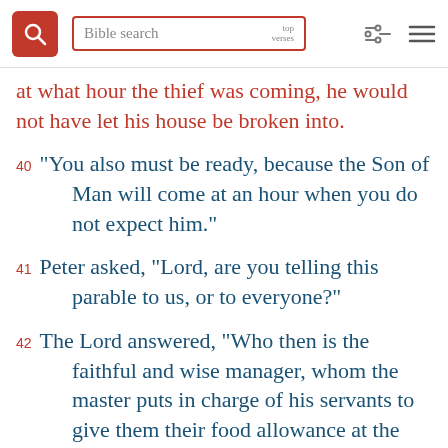Bible search | top verses
at what hour the thief was coming, he would not have let his house be broken into.
40 "You also must be ready, because the Son of Man will come at an hour when you do not expect him."
41 Peter asked, "Lord, are you telling this parable to us, or to everyone?"
42 The Lord answered, "Who then is the faithful and wise manager, whom the master puts in charge of his servants to give them their food allowance at the proper time?"